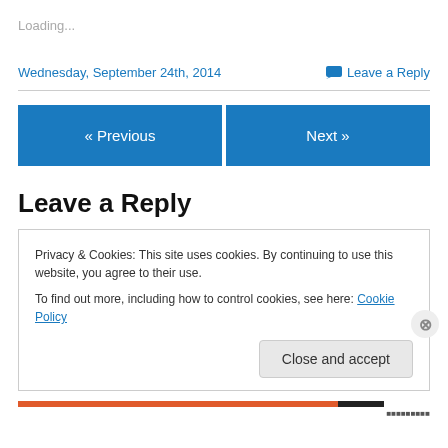Loading...
Wednesday, September 24th, 2014
Leave a Reply
« Previous
Next »
Leave a Reply
Privacy & Cookies: This site uses cookies. By continuing to use this website, you agree to their use.
To find out more, including how to control cookies, see here: Cookie Policy
Close and accept